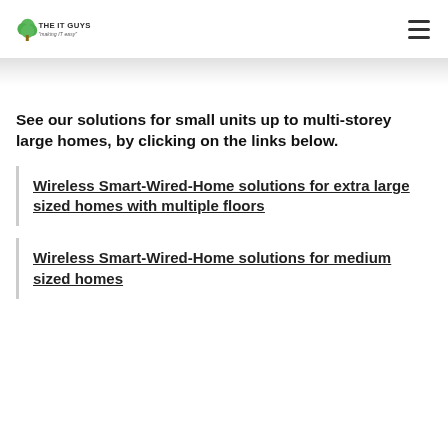THE IT GUYS — Making IT easy
See our solutions for small units up to multi-storey large homes, by clicking on the links below.
Wireless Smart-Wired-Home solutions for extra large sized homes with multiple floors
Wireless Smart-Wired-Home solutions for medium sized homes